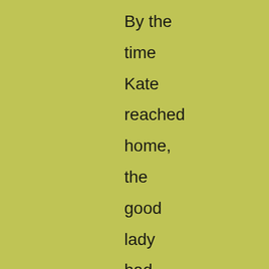By the time Kate reached home, the good lady had called to mind two authentic cases of milliners who had